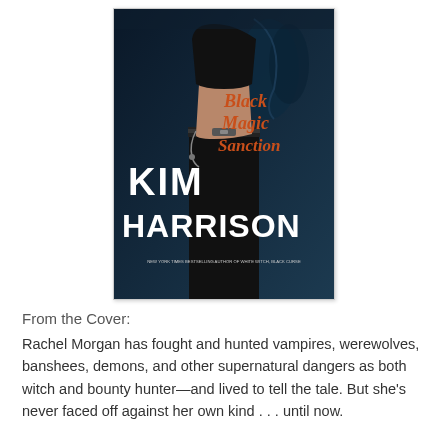[Figure (illustration): Book cover of 'Black Magic Sanction' by Kim Harrison. Dark blue toned cover showing a woman's torso in black clothing, with shadowy figures in the background. Large white text reads 'KIM HARRISON' at the bottom, and orange/red gothic text reads 'Black Magic Sanction' in the upper right. Subtitle at bottom: 'NEW YORK TIMES BESTSELLING AUTHOR OF WHITE WITCH, BLACK CURSE'.]
From the Cover:
Rachel Morgan has fought and hunted vampires, werewolves, banshees, demons, and other supernatural dangers as both witch and bounty hunter—and lived to tell the tale. But she's never faced off against her own kind . . . until now.